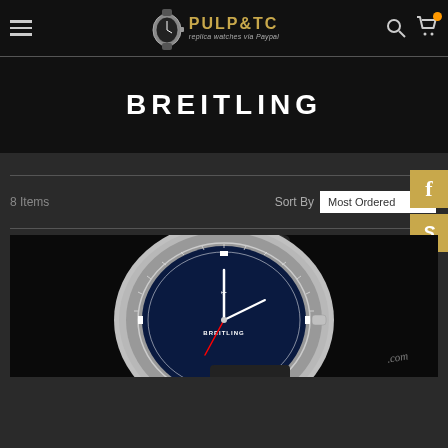PULP&TC replica watches via Paypal
BREITLING
8 Items    Sort By   Most Ordered
[Figure (photo): Breitling replica watch with dark blue dial, silver case, black rubber strap, on black background with partial watermark text ending in .com]